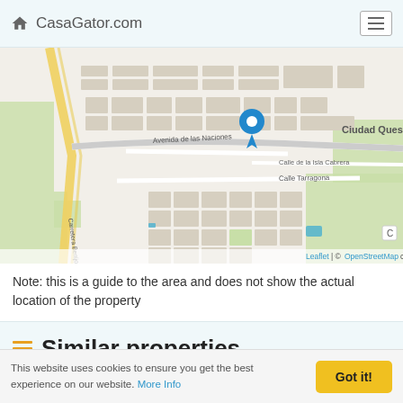CasaGator.com
[Figure (map): OpenStreetMap showing Ciudad Quesada area with a blue location pin marker. Streets visible include Avenida de las Naciones, Calle Tarragona, Calle de la Isla Cabrera, Carretera Benijofar - Torrevie. Attribution: Leaflet | © OpenStreetMap contributors.]
Note: this is a guide to the area and does not show the actual location of the property
Similar properties
This website uses cookies to ensure you get the best experience on our website. More Info